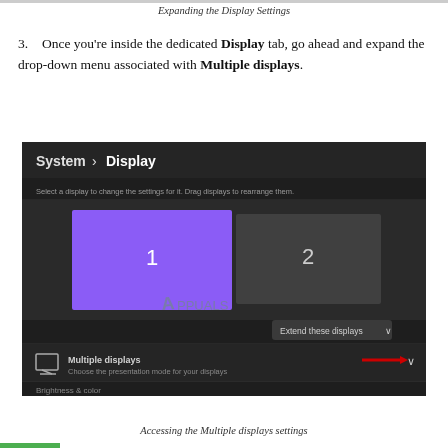Expanding the Display Settings
Once you're inside the dedicated Display tab, go ahead and expand the drop-down menu associated with Multiple displays.
[Figure (screenshot): Windows 11 System > Display settings screen showing two monitors (1 in purple, 2 in dark gray), with 'Extend these displays' dropdown and a red arrow pointing to the 'Multiple displays' expand chevron. An Appuals watermark is visible.]
Accessing the Multiple displays settings